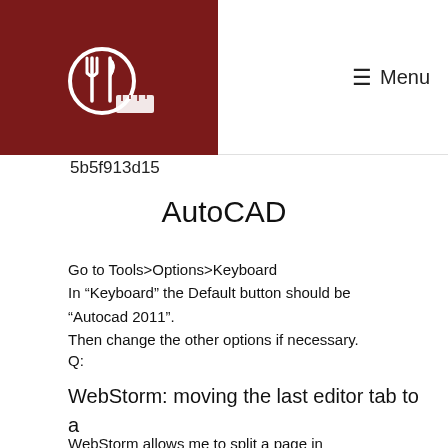Menu
5b5f913d15
AutoCAD
Go to Tools>Options>Keyboard
In “Keyboard” the Default button should be “Autocad 2011”.
Then change the other options if necessary.
Q:
WebStorm: moving the last editor tab to a group
WebStorm allows me to split a page in